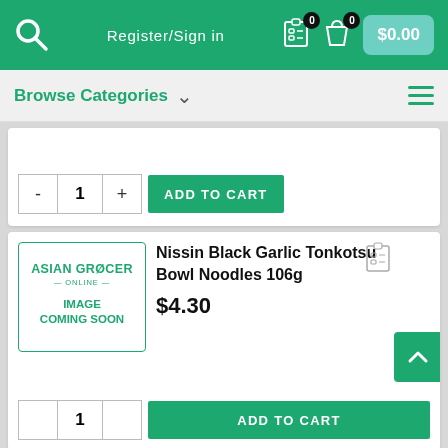Register/Sign in  $0.00
Browse Categories
[Figure (screenshot): Add to cart quantity selector with minus button, quantity 1, plus button, and ADD TO CART green button]
[Figure (photo): Asian Grocer Online placeholder image - IMAGE COMING SOON]
Nissin Black Garlic Tonkotsu Bowl Noodles 106g
$4.30
[Figure (screenshot): Add to cart quantity selector at bottom of second product card]